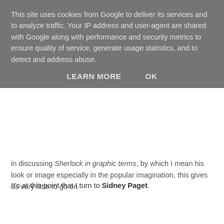This site uses cookies from Google to deliver its services and to analyze traffic. Your IP address and user-agent are shared with Google along with performance and security metrics to ensure quality of service, generate usage statistics, and to detect and address abuse.
LEARN MORE   OK
in discussing Sherlock in graphic terms, by which I mean his look or image especially in the popular imagination, this gives us very little to go on.
It's at this point that I turn to Sidney Paget.
If I may mix my pop-cultural metaphors for a moment, Paget is the Sherlockian equivalent of The Fifth Beatle – the third lodger at 221b, if you will.
Paget was born in London in 1860. His father was the vestry clerk at St James's in Clerkenwell. Having attended the Royal Academy Schools, he became an illustrator on the famous Strand Magazine, the picture paper published between 1891 and 1950.